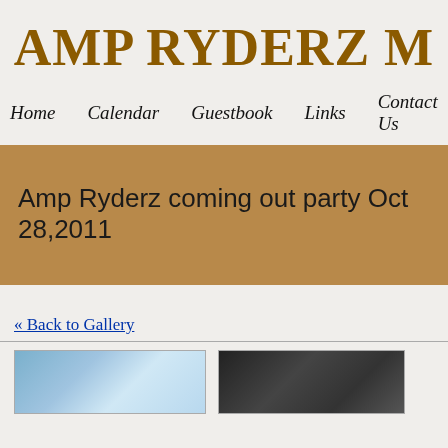AMP RYDERZ M
Home   Calendar   Guestbook   Links   Contact Us
Amp Ryderz coming out party Oct 28,2011
« Back to Gallery
[Figure (photo): Two thumbnail photos at the bottom of the page — left is a blue-tinted photo, right is a dark photo]
[Figure (photo): Dark thumbnail photo on the right side]